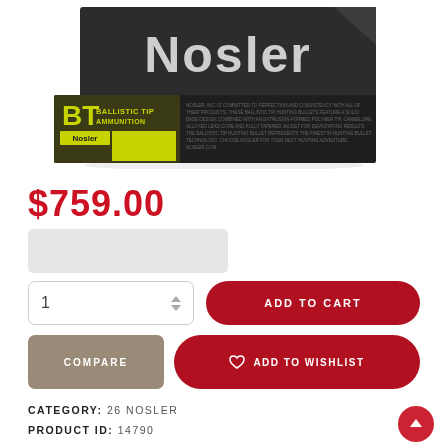[Figure (photo): Nosler Ballistic Tip ammunition box product photo — dark cardboard box with 'Nosler' in large white text on top, and a green/dark lower section labeled 'BT Ballistic Tip Ammunition']
$759.00
1
ADD TO CART
COMPARE
ADD TO WISHLIST
CATEGORY: 26 NOSLER
PRODUCT ID: 14790